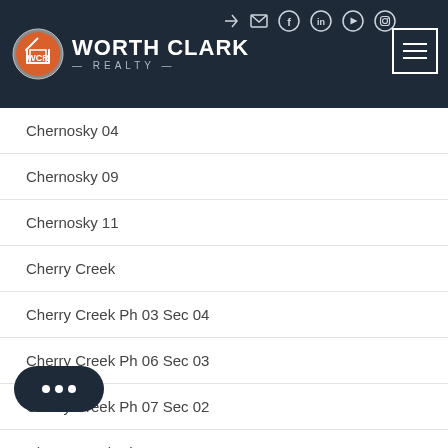[Figure (logo): Worth Clark Realty logo with orange circle containing WCR initials and house icon, white text on dark navy header background with social media icons and hamburger menu]
Chernosky 04
Chernosky 09
Chernosky 11
Cherry Creek
Cherry Creek Ph 03 Sec 04
Cherry Creek Ph 06 Sec 03
Cherry Creek Ph 07 Sec 02
Cherry Creek Ph 07 Sec 03